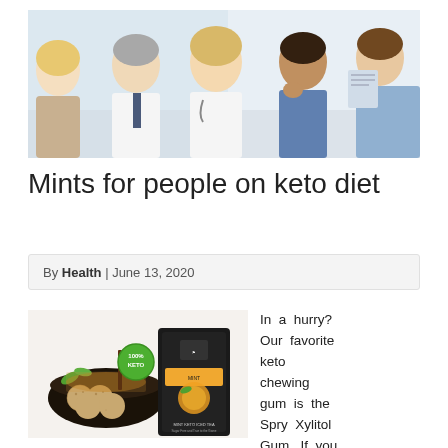[Figure (photo): Medical professionals in white coats and scrubs consulting together, examining documents]
Mints for people on keto diet
By Health | June 13, 2020
[Figure (photo): Product photo showing keto items: a bowl with round snacks, mint leaves, a black package labeled 'Mint Keto Iced Tea' with a 100% Keto badge, and a citrus drink]
In a hurry? Our favorite keto chewing gum is the Spry Xylitol Gum. If you are on keto,